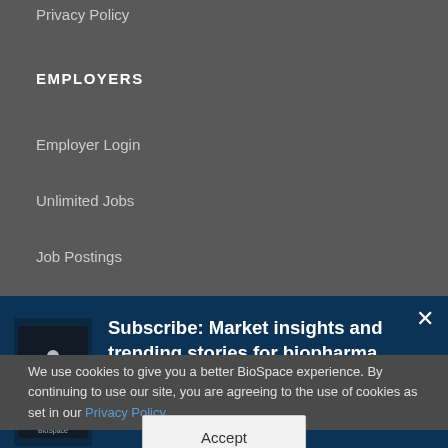Privacy Policy
EMPLOYERS
Employer Login
Unlimited Jobs
Job Postings
[Figure (infographic): Subscribe banner with phone/tablet image and text: Subscribe: Market insights and trending stories for biopharma leaders, with close X button]
We use cookies to give you a better BioSpace experience. By continuing to use our site, you are agreeing to the use of cookies as set in our Privacy Policy.
Accept